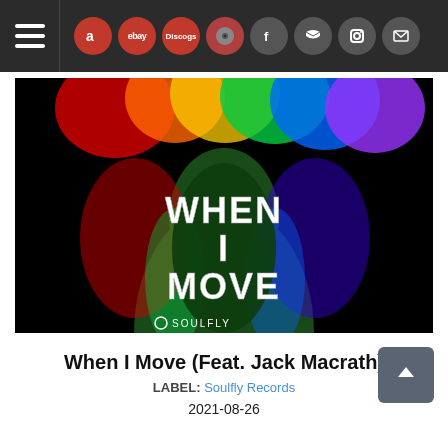Navigation bar with hamburger menu and icons: Amazon, eBay, Discogs, record store, Facebook, Twitter, Instagram, Mail
[Figure (photo): Album art for 'When I Move' by Soulfly Records featuring a dark silhouette of a person's back with colorful rainbow paint dripping from the top. White bold text reads 'WHEN I MOVE' and the Soulfly logo is at the bottom.]
When I Move (Feat. Jack Macrath)
LABEL: Soulfly Records
2021-08-26